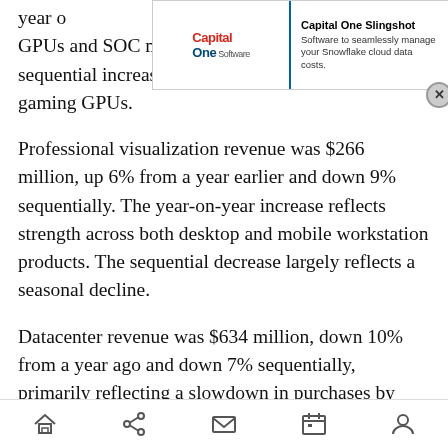year over year, primarily due to lower shipments of gaming GPUs and SOC modules for gaming platforms. The sequential increase primarily reflects growth in gaming GPUs.
Professional visualization revenue was $266 million, up 6% from a year earlier and down 9% sequentially. The year-on-year increase reflects strength across both desktop and mobile workstation products. The sequential decrease largely reflects a seasonal decline.
Datacenter revenue was $634 million, down 10% from a year ago and down 7% sequentially, primarily reflecting a slowdown in purchases by
Home Share Mail Calendar Profile